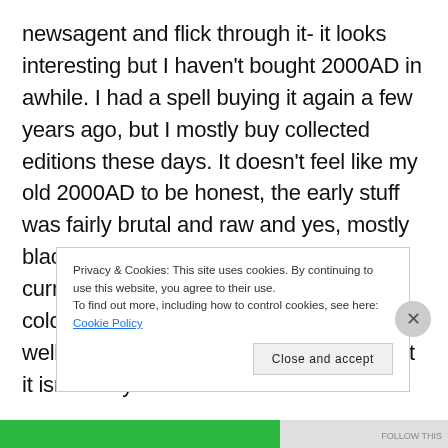newsagent and flick through it- it looks interesting but I haven't bought 2000AD in awhile. I had a spell buying it again a few years ago, but I mostly buy collected editions these days. It doesn't feel like my old 2000AD to be honest, the early stuff was fairly brutal and raw and yes, mostly black and white on cheap paper. The current comic is on better paper, mostly colour, the strips look slick but it feels... well, I'll no doubt buy it again in future but it isn't really the
Privacy & Cookies: This site uses cookies. By continuing to use this website, you agree to their use.
To find out more, including how to control cookies, see here: Cookie Policy
Close and accept